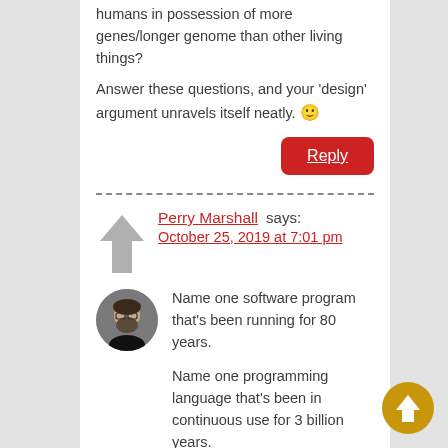humans in possession of more genes/longer genome than other living things?
Answer these questions, and your 'design' argument unravels itself neatly. 🙂
Reply
Perry Marshall says: October 25, 2019 at 7:01 pm
[Figure (photo): Circular avatar photo of Perry Marshall, a man with glasses and a beard]
Name one software program that's been running for 80 years.
Name one programming language that's been in continuous use for 3 billion years.